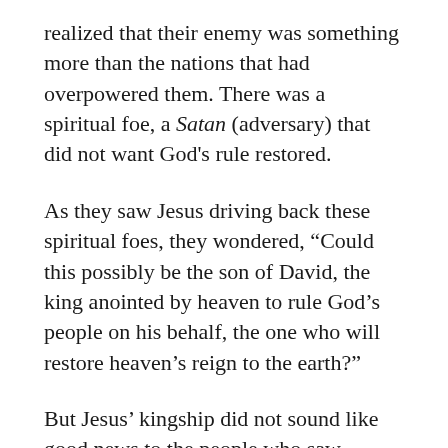realized that their enemy was something more than the nations that had overpowered them. There was a spiritual foe, a Satan (adversary) that did not want God's rule restored.
As they saw Jesus driving back these spiritual foes, they wondered, “Could this possibly be the son of David, the king anointed by heaven to rule God’s people on his behalf, the one who will restore heaven’s reign to the earth?”
But Jesus’ kingship did not sound like good news to the people who saw themselves as leaders in the Galilean towns — the Pharisees. They could not deny the incoming spiritual energy working through Jesus, so their only